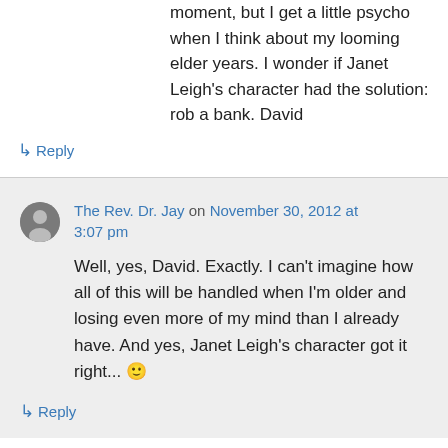moment, but I get a little psycho when I think about my looming elder years. I wonder if Janet Leigh's character had the solution: rob a bank. David
↳ Reply
The Rev. Dr. Jay on November 30, 2012 at 3:07 pm
Well, yes, David. Exactly. I can't imagine how all of this will be handled when I'm older and losing even more of my mind than I already have. And yes, Janet Leigh's character got it right... 🙂
↳ Reply